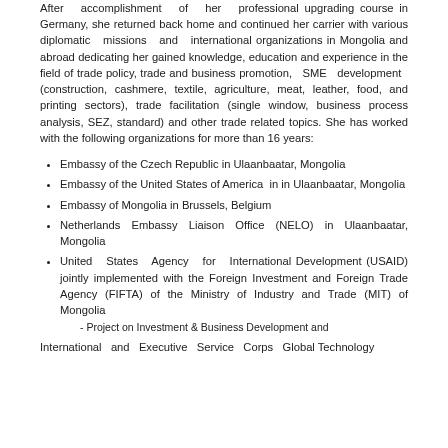After accomplishment of her professional upgrading course in Germany, she returned back home and continued her carrier with various diplomatic missions and international organizations in Mongolia and abroad dedicating her gained knowledge, education and experience in the field of trade policy, trade and business promotion, SME development (construction, cashmere, textile, agriculture, meat, leather, food, and printing sectors), trade facilitation (single window, business process analysis, SEZ, standard) and other trade related topics. She has worked with the following organizations for more than 16 years:
Embassy of the Czech Republic in Ulaanbaatar, Mongolia
Embassy of the United States of America in in Ulaanbaatar, Mongolia
Embassy of Mongolia in Brussels, Belgium
Netherlands Embassy Liaison Office (NELO) in Ulaanbaatar, Mongolia
United States Agency for International Development (USAID) jointly implemented with the Foreign Investment and Foreign Trade Agency (FIFTA) of the Ministry of Industry and Trade (MIT) of Mongolia
- Project on Investment & Business Development and
International and Executive Service Corps Global Technology